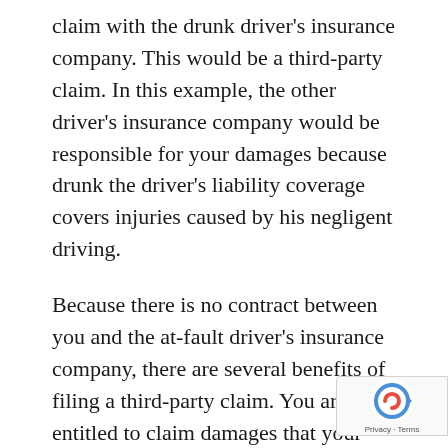claim with the drunk driver's insurance company. This would be a third-party claim. In this example, the other driver's insurance company would be responsible for your damages because drunk the driver's liability coverage covers injuries caused by his negligent driving.
Because there is no contract between you and the at-fault driver's insurance company, there are several benefits of filing a third-party claim. You are entitled to claim damages that your insurance policy may not cover, such as payment for medical expenses, pain and suffering, mental anguish, and lost wages. There is a lot to know about third-party insurance that you should